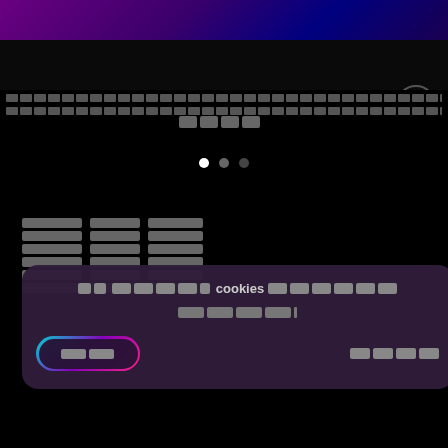[Figure (screenshot): Top banner with purple/dark gradient background showing partial app/product imagery]
[Figure (screenshot): Vectornator app website navigation bar with logo (feather pen icon), brand name 'Vectornator', and hamburger menu button on dark background]
[Figure (screenshot): Website content area with redacted text blocks, carousel dots, left-aligned text columns, and a cookie consent overlay with gradient border 'Accept' button and 'Decline' text link, all on black/dark purple background]